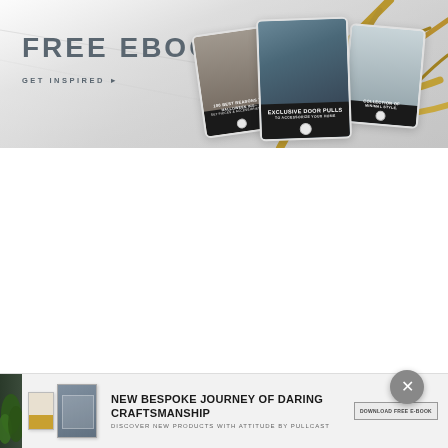[Figure (illustration): Promotional banner for a free ebook. Shows marble background with golden branches, three tablet/iPad devices displaying ebook covers (interior design books), bold text 'FREE EBOOK' and 'GET INSPIRED ►' on the left side.]
FREE EBOOK
GET INSPIRED ►
[Figure (illustration): Bottom advertisement banner with product book images on the left, text 'NEW BESPOKE JOURNEY OF DARING CRAFTSMANSHIP' and subtitle 'DISCOVER NEW PRODUCTS WITH ATTITUDE BY PULLCAST', plus a 'DOWNLOAD FREE E-BOOK' button on the right. A circular close button (X) appears above the banner.]
NEW BESPOKE JOURNEY OF DARING CRAFTSMANSHIP
DISCOVER NEW PRODUCTS WITH ATTITUDE BY PULLCAST